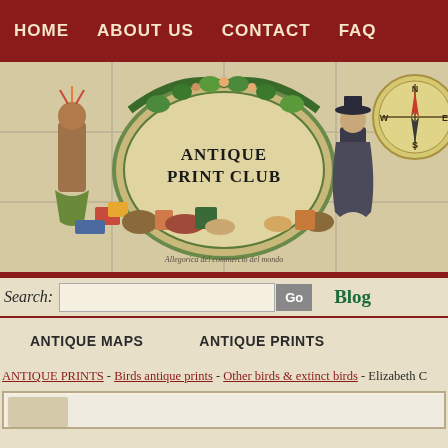HOME   ABOUT US   CONTACT   FAQ
[Figure (illustration): Antique Print Club banner with decorative arch, historical figures, trade goods, and compass rose. Text reads ANTIQUE PRINT CLUB.]
Search:  [input]  Go    Blog
ANTIQUE MAPS    ANTIQUE PRINTS
ANTIQUE PRINTS - Birds antique prints - Other birds & extinct birds - Elizabeth C